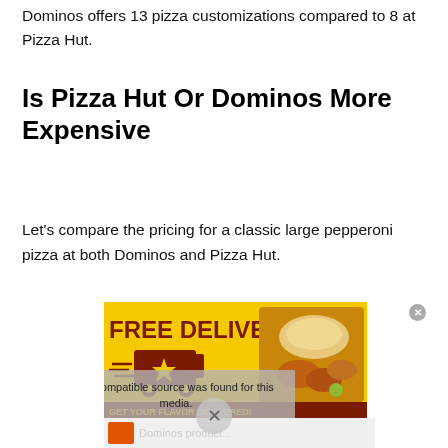Dominos offers 13 pizza customizations compared to 8 at Pizza Hut.
Is Pizza Hut Or Dominos More Expensive
Let's compare the pricing for a classic large pepperoni pizza at both Dominos and Pizza Hut.
[Figure (screenshot): Advertisement for a food delivery service with yellow background reading 'FREE DELIVERY' and 'GET YOUR FLAVOR DELIVERED!' with an Order Now button, overlaid with a video error message 'No compatible source was found for this media.']